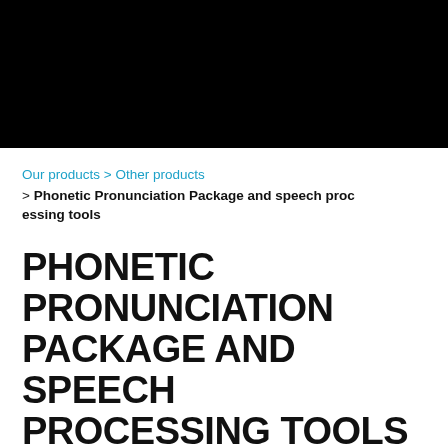[Figure (other): Black header banner image at top of page]
Our products > Other products > Phonetic Pronunciation Package and speech processing tools
PHONETIC PRONUNCIATION PACKAGE AND SPEECH PROCESSING TOOLS
VENDOR-INDEPENDENT TOOLS PRODUCE HIGHEST ACCURACY SPEECH RECOGNITION AND SYNTHESIS FOR NAMES OF PEOPLE, PLACES, BUSINESSES AND ORGANIZATIONS